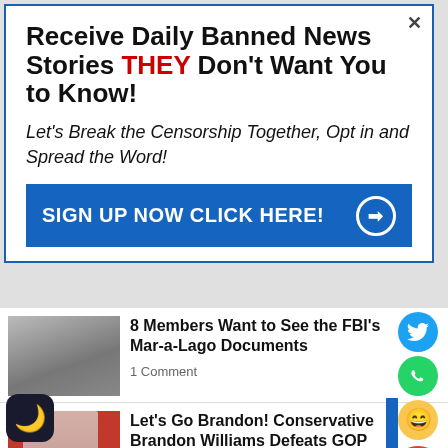Receive Daily Banned News Stories THEY Don't Want You to Know!
Let's Break the Censorship Together, Opt in and Spread the Word!
SIGN UP NOW CLICK HERE!
8 Members Want to See the FBI's Mar-a-Lago Documents
1 Comment
Let's Go Brandon! Conservative Brandon Williams Defeats GOP